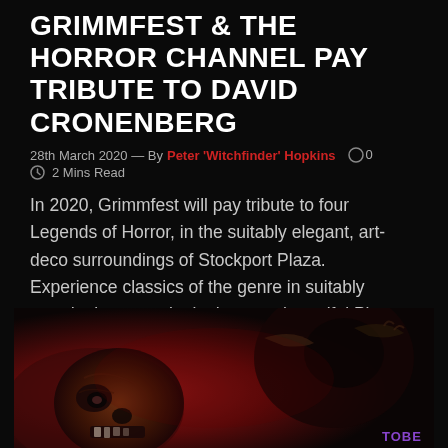GRIMMFEST & THE HORROR CHANNEL PAY TRIBUTE TO DAVID CRONENBERG
28th March 2020 — By Peter 'Witchfinder' Hopkins  ◯ 0
⏱ 2 Mins Read
In 2020, Grimmfest will pay tribute to four Legends of Horror, in the suitably elegant, art-deco surroundings of Stockport Plaza. Experience classics of the genre in suitably grand, elegant style, in the most beautiful Picture Palace in the region. Grimmfest has partnered with The Horror Channel to offer big screen...
Read More
[Figure (photo): Horror movie promotional image showing a decayed zombie face on the left and a dark cloaked figure on the right, with red/dark background. 'TOBE' text visible in purple at the bottom right.]